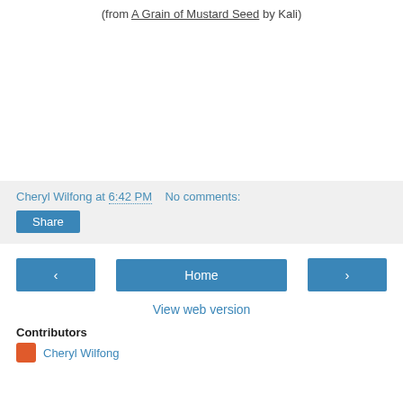(from A Grain of Mustard Seed by Kali)
Cheryl Wilfong at 6:42 PM   No comments:
Share
‹
Home
›
View web version
Contributors
Cheryl Wilfong